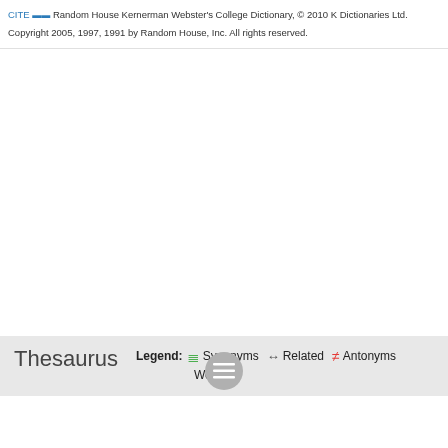CITE — Random House Kernerman Webster's College Dictionary, © 2010 K Dictionaries Ltd. Copyright 2005, 1997, 1991 by Random House, Inc. All rights reserved.
Thesaurus
Legend: ≡ Synonyms ↔ Related ≠ Antonyms Words